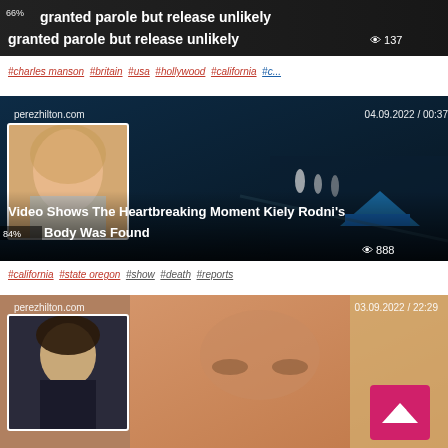[Figure (screenshot): Top article thumbnail strip showing 'granted parole but release unlikely' headline with eye icon and 137 views]
#charles manson #britain #usa #hollywood #california #c...
[Figure (screenshot): perezhilton.com article thumbnail dated 04.09.2022 / 00:37 - aerial night scene with tent, woman photo inset - 'Video Shows The Heartbreaking Moment Kiely Rodni's Body Was Found' with 888 views]
#california #state oregon #show #death #reports
[Figure (screenshot): perezhilton.com article thumbnail dated 03.09.2022 / 22:29 - close-up of woman's face, inset photo of woman with dark hair, pink scroll-to-top button]